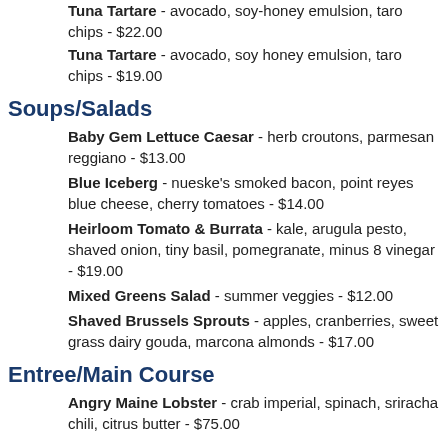Tuna Tartare - avocado, soy-honey emulsion, taro chips - $22.00
Tuna Tartare - avocado, soy honey emulsion, taro chips - $19.00
Soups/Salads
Baby Gem Lettuce Caesar - herb croutons, parmesan reggiano - $13.00
Blue Iceberg - nueske's smoked bacon, point reyes blue cheese, cherry tomatoes - $14.00
Heirloom Tomato & Burrata - kale, arugula pesto, shaved onion, tiny basil, pomegranate, minus 8 vinegar - $19.00
Mixed Greens Salad - summer veggies - $12.00
Shaved Brussels Sprouts - apples, cranberries, sweet grass dairy gouda, marcona almonds - $17.00
Entree/Main Course
Angry Maine Lobster - crab imperial, spinach, sriracha chili, citrus butter - $75.00